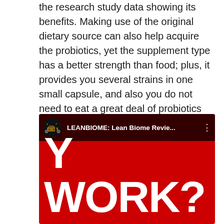the research study data showing its benefits. Making use of the original dietary source can also help acquire the probiotics, yet the supplement type has a better strength than food; plus, it provides you several strains in one small capsule, and also you do not need to eat a great deal of probiotics abundant foods on a daily basis. It is a vegan/vegetarian-friendly product, devoid of nuts, soy, dairy products, BPAs, and genetically modified components.
[Figure (screenshot): YouTube video thumbnail showing 'LEANBIOME: Lean Biome Revie...' with large white text 'Y WORK?' on a red background, with a channel icon in the top bar.]